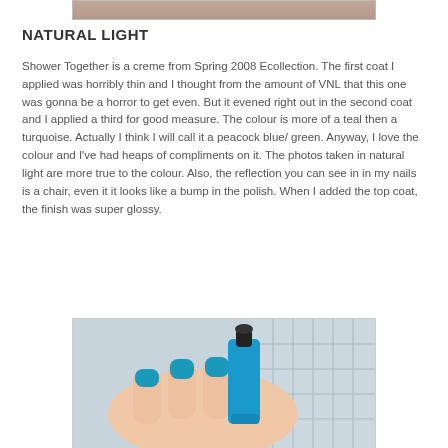[Figure (photo): Partial photo at top of page, likely showing nails with teal polish]
NATURAL LIGHT
Shower Together is a creme from Spring 2008 Ecollection. The first coat I applied was horribly thin and I thought from the amount of VNL that this one was gonna be a horror to get even. But it evened right out in the second coat and I applied a third for good measure. The colour is more of a teal then a turquoise. Actually I think I will call it a peacock blue/ green. Anyway, I love the colour and I've had heaps of compliments on it. The photos taken in natural light are more true to the colour. Also, the reflection you can see in in my nails is a chair, even it it looks like a bump in the polish. When I added the top coat, the finish was super glossy.
[Figure (photo): Photo of a hand holding a teal/turquoise China Glaze nail polish bottle, with nails painted in the same teal color]